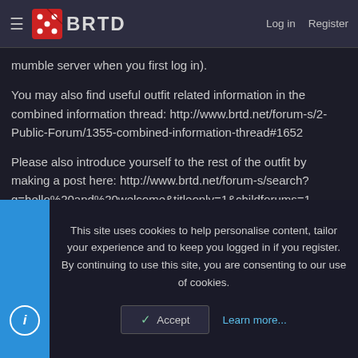BRTD | Log in | Register
mumble server when you first log in).
You may also find useful outfit related information in the combined information thread: http://www.brtd.net/forum-s/2-Public-Forum/1355-combined-information-thread#1652
Please also introduce yourself to the rest of the outfit by making a post here: http://www.brtd.net/forum-s/search?q=hello%20and%20welcome&titleonly=1&childforums=1
The outfit training officers have a thread set up, so if you require training in any particular gameplay aspect drop them a message at http://www.brtd.net/forum-s/training-tactics-guides-
This site uses cookies to help personalise content, tailor your experience and to keep you logged in if you register.
By continuing to use this site, you are consenting to our use of cookies.